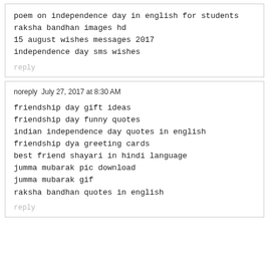poem on independence day in english for students
raksha bandhan images hd
15 august wishes messages 2017
independence day sms wishes
reply
noreply  July 27, 2017 at 8:30 AM
friendship day gift ideas
friendship day funny quotes
indian independence day quotes in english
friendship dya greeting cards
best friend shayari in hindi language
jumma mubarak pic download
jumma mubarak gif
raksha bandhan quotes in english
reply